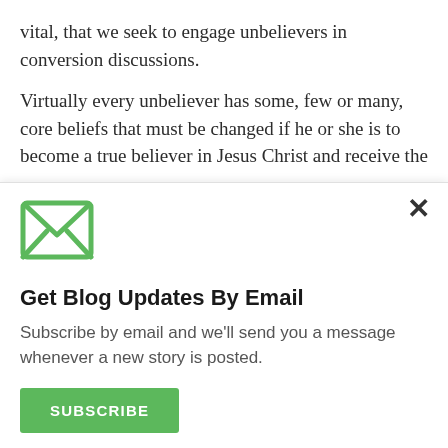vital, that we seek to engage unbelievers in conversion discussions.

Virtually every unbeliever has some, few or many, core beliefs that must be changed if he or she is to become a true believer in Jesus Christ and receive the
[Figure (illustration): Green envelope icon for email subscription modal]
Get Blog Updates By Email
Subscribe by email and we'll send you a message whenever a new story is posted.
SUBSCRIBE